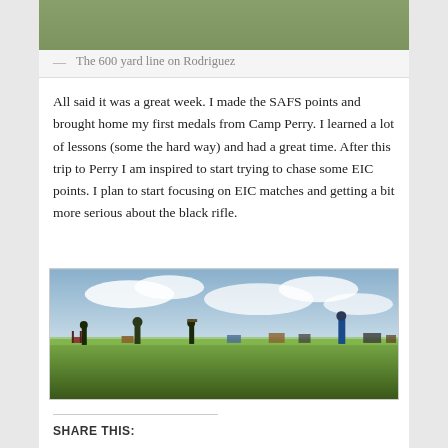[Figure (photo): Partial view of a photo showing the top edge of a shooting range scene]
— The 600 yard line on Rodriguez
All said it was a great week. I made the SAFS points and brought home my first medals from Camp Perry. I learned a lot of lessons (some the hard way) and had a great time. After this trip to Perry I am inspired to start trying to chase some EIC points. I plan to start focusing on EIC matches and getting a bit more serious about the black rifle.
[Figure (photo): Outdoor shooting range with people standing on a grass field, chairs and equipment visible, cloudy sky in background]
SHARE THIS: